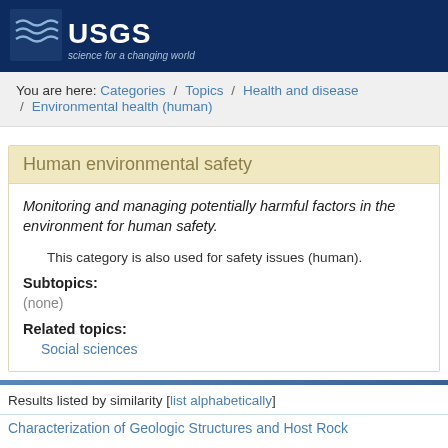[Figure (logo): USGS logo — blue shield with wave lines, text 'USGS' and 'science for a changing world' on dark navy background]
You are here: Categories / Topics / Health and disease / Environmental health (human)
Human environmental safety
Monitoring and managing potentially harmful factors in the environment for human safety.
This category is also used for safety issues (human).
Subtopics:
(none)
Related topics:
Social sciences
Results listed by similarity [list alphabetically]
Characterization of Geologic Structures and Host Rock